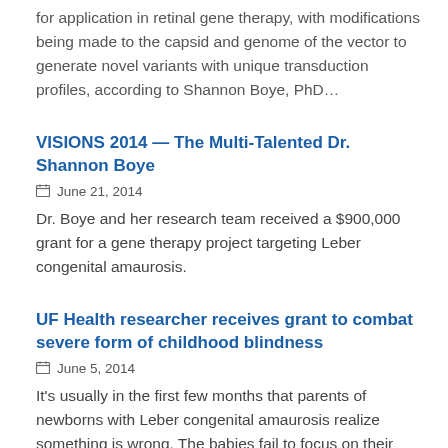for application in retinal gene therapy, with modifications being made to the capsid and genome of the vector to generate novel variants with unique transduction profiles, according to Shannon Boye, PhD...
VISIONS 2014 — The Multi-Talented Dr. Shannon Boye
June 21, 2014
Dr. Boye and her research team received a $900,000 grant for a gene therapy project targeting Leber congenital amaurosis.
UF Health researcher receives grant to combat severe form of childhood blindness
June 5, 2014
It's usually in the first few months that parents of newborns with Leber congenital amaurosis realize something is wrong. The babies fail to focus on their parents' faces, may be abnormally sensitive to light or have unusual eye movements. Parents then receive the